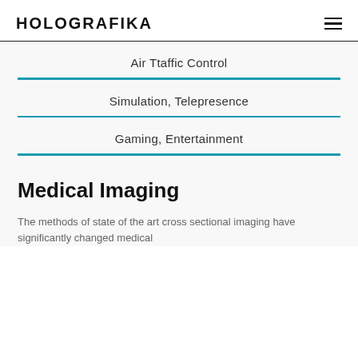HOLOGRAFIKA
Air Ttaffic Control
Simulation, Telepresence
Gaming, Entertainment
Medical Imaging
The methods of state of the art cross sectional imaging have significantly changed medical